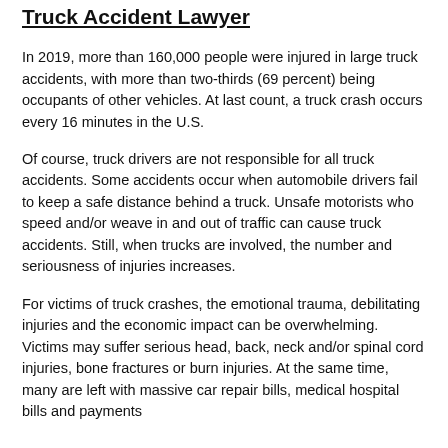Truck Accident Lawyer
In 2019, more than 160,000 people were injured in large truck accidents, with more than two-thirds (69 percent) being occupants of other vehicles. At last count, a truck crash occurs every 16 minutes in the U.S.
Of course, truck drivers are not responsible for all truck accidents. Some accidents occur when automobile drivers fail to keep a safe distance behind a truck. Unsafe motorists who speed and/or weave in and out of traffic can cause truck accidents. Still, when trucks are involved, the number and seriousness of injuries increases.
For victims of truck crashes, the emotional trauma, debilitating injuries and the economic impact can be overwhelming. Victims may suffer serious head, back, neck and/or spinal cord injuries, bone fractures or burn injuries. At the same time, many are left with massive car repair bills, medical hospital bills and payments